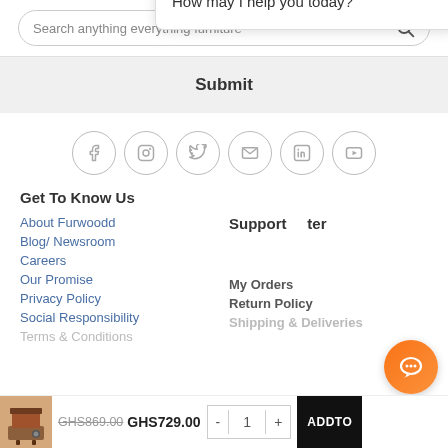[Figure (screenshot): Search bar with placeholder text 'Search anything everything furniture' and a search icon]
Submit
[Figure (infographic): Row of 6 social media icons in circles: Facebook, Instagram, Twitter, Email, LinkedIn, YouTube]
Get To Know Us
About Furwoodd
Blog/ Newsroom
Careers
Our Promise
Privacy Policy
Social Responsibility
Terms & Conditions
Support Center
[Figure (screenshot): Chat popup with avatar, close button, and message: Welcome to Furwoodd. I'm Sally. How may I help you today?]
My Orders
Return Policy
Shipping & Deliveries
GHS869.00  GHS729.00
[Figure (photo): Product thumbnail of a desk/chair]